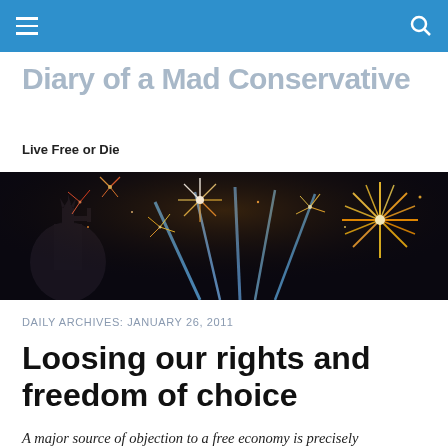Navigation bar with hamburger menu and search icon
Diary of a Mad Conservative
Live Free or Die
[Figure (photo): Wide banner photograph of fireworks including the Statue of Liberty silhouette against a dark sky with colorful fireworks exploding in orange, yellow, red and blue]
DAILY ARCHIVES: JANUARY 26, 2011
Loosing our rights and freedom of choice
A major source of objection to a free economy is precisely